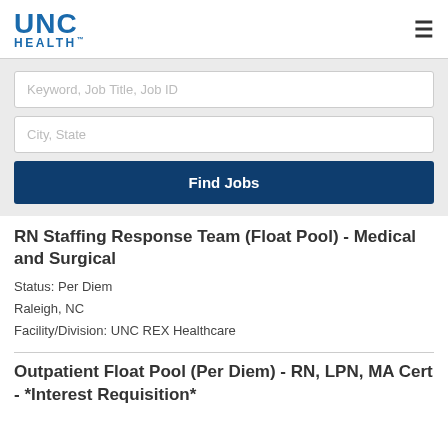[Figure (logo): UNC Health logo in blue]
Keyword, Job Title, Job ID
City, State
Find Jobs
RN Staffing Response Team (Float Pool) - Medical and Surgical
Status: Per Diem
Raleigh, NC
Facility/Division: UNC REX Healthcare
Outpatient Float Pool (Per Diem) - RN, LPN, MA Cert - *Interest Requisition*